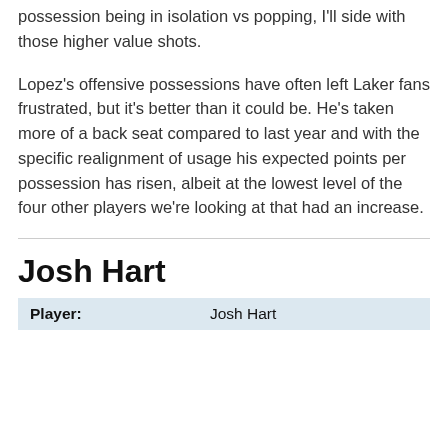possession being in isolation vs popping, I'll side with those higher value shots.
Lopez's offensive possessions have often left Laker fans frustrated, but it's better than it could be. He's taken more of a back seat compared to last year and with the specific realignment of usage his expected points per possession has risen, albeit at the lowest level of the four other players we're looking at that had an increase.
Josh Hart
| Player: |  |
| --- | --- |
| Player: | Josh Hart |